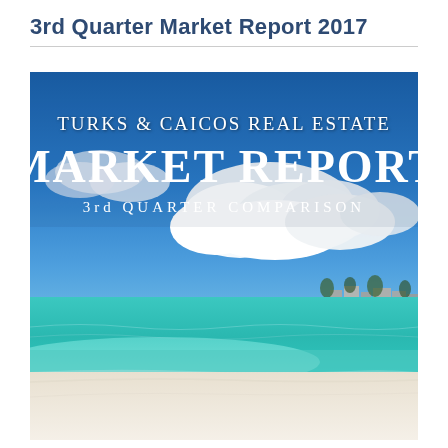3rd Quarter Market Report 2017
[Figure (photo): Beach scene in Turks & Caicos with turquoise water, white sand beach, clouds in blue sky, and buildings on right horizon. Overlaid text reads: TURKS & CAICOS REAL ESTATE MARKET REPORT 3rd QUARTER COMPARISON]